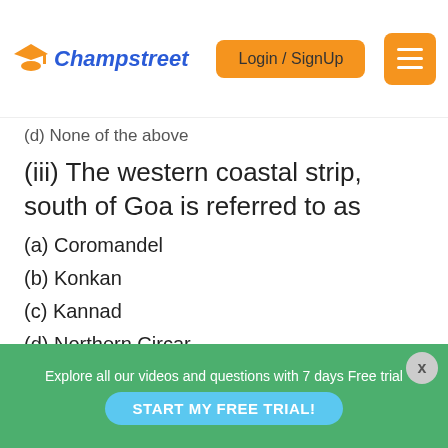Champstreet — Login / SignUp
(d) None of the above
(iii) The western coastal strip, south of Goa is referred to as
(a) Coromandel
(b) Konkan
(c) Kannad
(d) Northern Circar
(iv) The highest peak in the Eastern Ghats is
Explore all our videos and questions with 7 days Free trial — START MY FREE TRIAL!